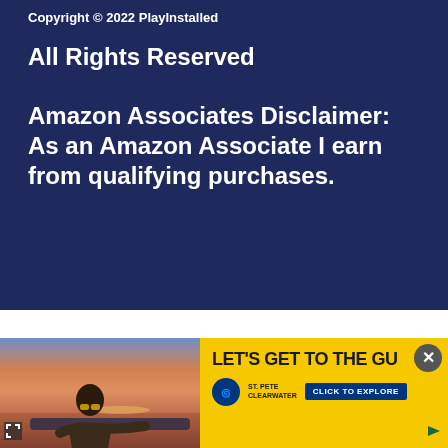Copyright © 2022 PlayInstalled
All Rights Reserved
Amazon Associates Disclaimer: As an Amazon Associate I earn from qualifying purchases.
[Figure (photo): Advertisement banner showing a woman in sunglasses resting by a pool at sunset, with yellow background and text 'LET'S GET TO THE GU...' and St. Pete Clearwater logo with 'CLICK TO EXPLORE' button]